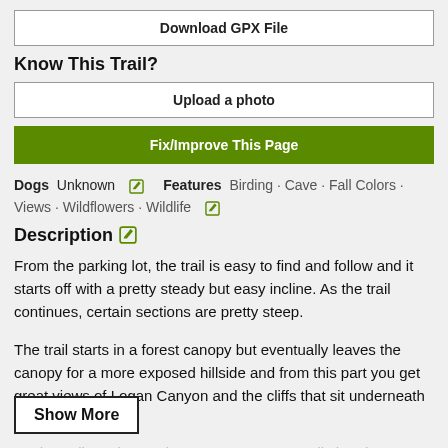Download GPX File
Know This Trail?
Upload a photo
Fix/Improve This Page
Dogs Unknown [edit] Features Birding · Cave · Fall Colors · Views · Wildflowers · Wildlife [edit]
Description
From the parking lot, the trail is easy to find and follow and it starts off with a pretty steady but easy incline. As the trail continues, certain sections are pretty steep.
The trail starts in a forest canopy but eventually leaves the canopy for a more exposed hillside and from this part you get great views of Logan Canyon and the cliffs that sit underneath the Crimson Trail.
As the trail continues, there are many spur trails but they are usually blocked off or it is easy to see the main trail. Be sure to stay on the m... spur trails sometimes lead to nowhere, or to
Show More